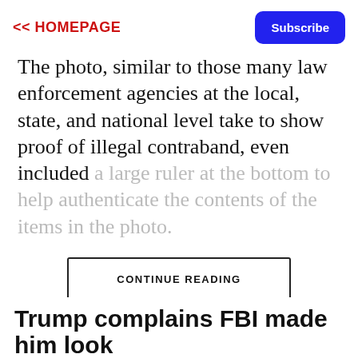<< HOMEPAGE   Subscribe
The photo, similar to those many law enforcement agencies at the local, state, and national level take to show proof of illegal contraband, even included a large ruler at the bottom to help authenticate the contents of the items in the photo.
CONTINUE READING
Trump complains FBI made him look